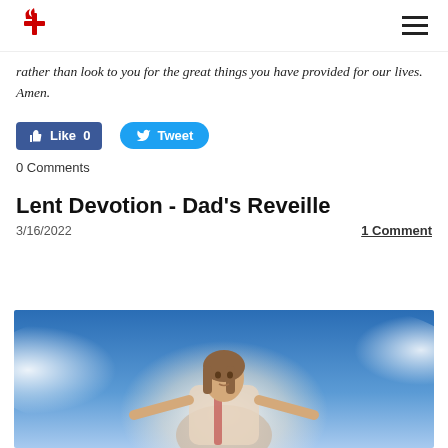United Methodist Church logo and navigation
rather than look to you for the great things you have provided for our lives. Amen.
[Figure (other): Facebook Like button (0 likes) and Twitter Tweet button]
0 Comments
Lent Devotion - Dad's Reveille
3/16/2022    1 Comment
[Figure (photo): Image of Jesus Christ with arms outstretched against a blue sky with clouds]